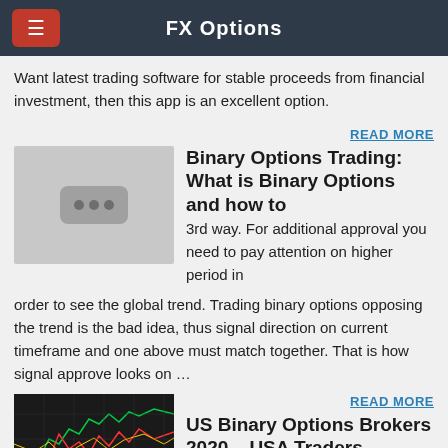FX Options
Want latest trading software for stable proceeds from financial investment, then this app is an excellent option.
READ MORE
[Figure (illustration): Placeholder image thumbnail with three dots icon on gray background]
Binary Options Trading: What is Binary Options and how to
3rd way. For additional approval you need to pay attention on higher period in order to see the global trend. Trading binary options opposing the trend is the bad idea, thus signal direction on current timeframe and one above must match together. That is how signal approve looks on …
READ MORE
[Figure (photo): Dark photo showing financial trading charts with colorful lines on black background]
US Binary Options Brokers 2020 – USA Traders Accepted